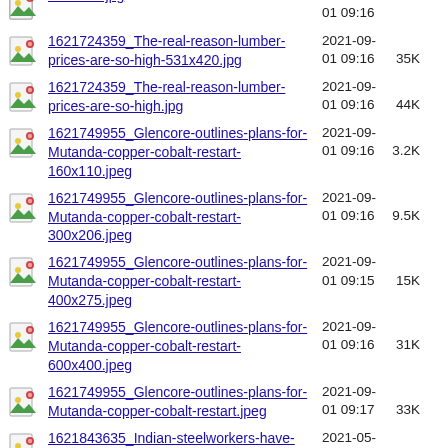531x400.jpg  2021-09-01 09:16
1621724359_The-real-reason-lumber-prices-are-so-high-531x420.jpg  2021-09-01 09:16  35K
1621724359_The-real-reason-lumber-prices-are-so-high.jpg  2021-09-01 09:16  44K
1621749955_Glencore-outlines-plans-for-Mutanda-copper-cobalt-restart-160x110.jpeg  2021-09-01 09:16  3.2K
1621749955_Glencore-outlines-plans-for-Mutanda-copper-cobalt-restart-300x206.jpeg  2021-09-01 09:16  9.5K
1621749955_Glencore-outlines-plans-for-Mutanda-copper-cobalt-restart-400x275.jpeg  2021-09-01 09:15  15K
1621749955_Glencore-outlines-plans-for-Mutanda-copper-cobalt-restart-600x400.jpeg  2021-09-01 09:16  31K
1621749955_Glencore-outlines-plans-for-Mutanda-copper-cobalt-restart.jpeg  2021-09-01 09:17  33K
1621843635_Indian-steelworkers-have-even-more-  2021-05-25 08:15  14K